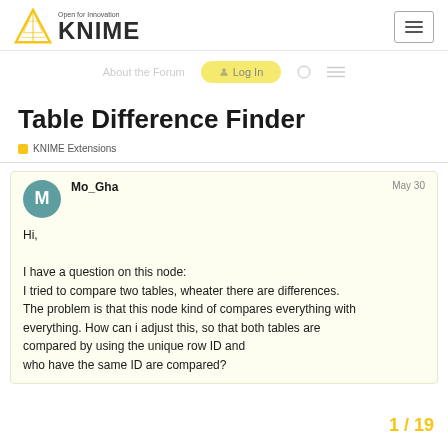KNIME – Open for Innovation
Table Difference Finder
KNIME Extensions
Mo_Gha  May 30
Hi,

I have a question on this node:
I tried to compare two tables, wheater there are differences. The problem is that this node kind of compares everything with everything. How can i adjust this, so that both tables are compared by using the unique row ID and who have the same ID are compared?
1 / 19